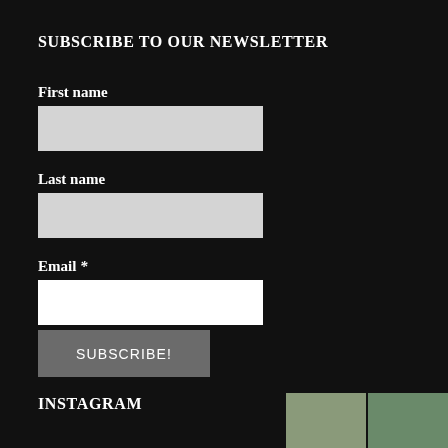SUBSCRIBE TO OUR NEWSLETTER
First name
[Figure (other): Empty text input field for First name, light gray background]
Last name
[Figure (other): Empty text input field for Last name, light gray background]
Email *
[Figure (other): Empty text input field for Email, white background]
[Figure (other): SUBSCRIBE! button, dark gray background]
INSTAGRAM
[Figure (photo): Two small thumbnail images at bottom right corner, partially visible]